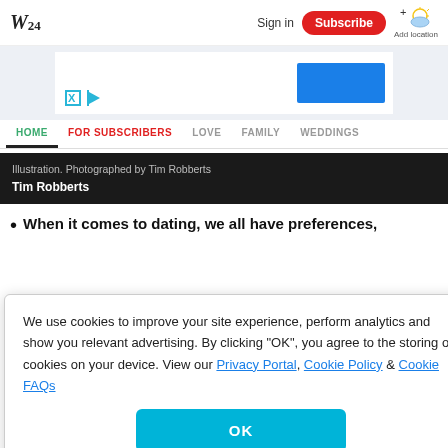W24 | Sign in | Subscribe | Add location
[Figure (screenshot): Advertisement banner with blue rectangle and small X and play icons]
HOME | FOR SUBSCRIBERS | LOVE | FAMILY | WEDDINGS
Illustration. Photographed by Tim Robberts
Tim Robberts
When it comes to dating, we all have preferences,
We use cookies to improve your site experience, perform analytics and show you relevant advertising. By clicking "OK", you agree to the storing of cookies on your device. View our Privacy Portal, Cookie Policy & Cookie FAQs